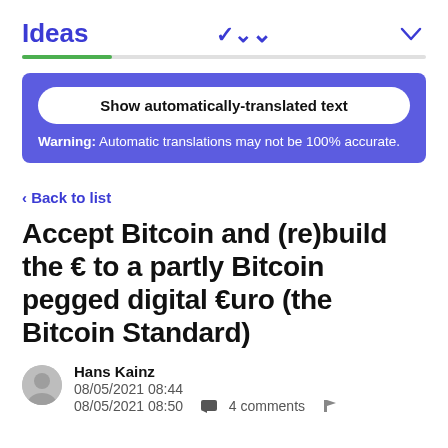Ideas
[Figure (other): Translation banner with button 'Show automatically-translated text' and warning text 'Warning: Automatic translations may not be 100% accurate.' on a purple/blue background]
‹ Back to list
Accept Bitcoin and (re)build the € to a partly Bitcoin pegged digital €uro (the Bitcoin Standard)
Hans Kainz
08/05/2021 08:44
08/05/2021 08:50  ■ 4 comments  🚩